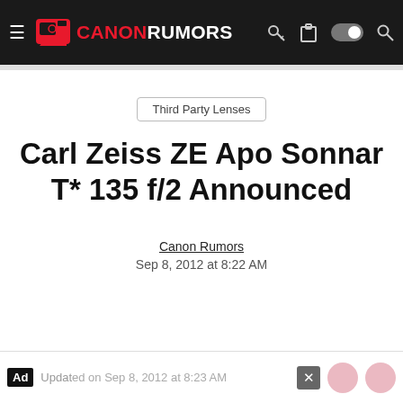CANON RUMORS
Third Party Lenses
Carl Zeiss ZE Apo Sonnar T* 135 f/2 Announced
Canon Rumors
Sep 8, 2012 at 8:22 AM
Updated on Sep 8, 2012 at 8:23 AM